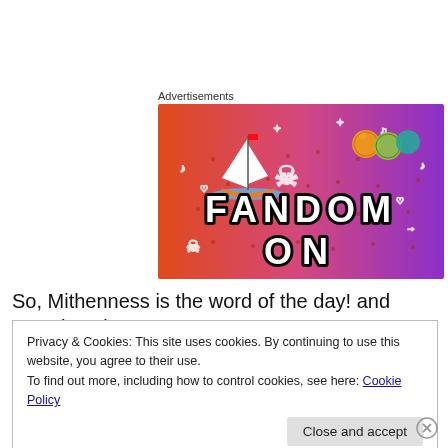Advertisements
[Figure (illustration): Fandom On advertisement banner with colorful gradient background (orange to purple), featuring a sailboat, skulls, dice, and the text FANDOM ON in bold block letters]
So, Mithenness is the word of the day! and somehow just
Privacy & Cookies: This site uses cookies. By continuing to use this website, you agree to their use.
To find out more, including how to control cookies, see here: Cookie Policy
Close and accept